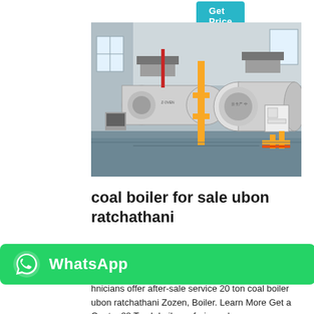Get Price
[Figure (photo): Industrial boiler room with two large horizontal cylindrical boilers, yellow gas pipes, and associated equipment on a wet concrete floor inside a factory building.]
coal boiler for sale ubon ratchathani
[Figure (logo): WhatsApp button with phone icon and 'WhatsApp' text on green background]
hnicians offer after-sale service 20 ton coal boiler ubon ratchathani Zozen, Boiler. Learn More Get a Quote; 88 Ton h boilers - ferienwohnung-